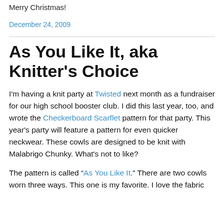Merry Christmas!
December 24, 2009
As You Like It, aka Knitter's Choice
I'm having a knit party at Twisted next month as a fundraiser for our high school booster club. I did this last year, too, and wrote the Checkerboard Scarflet pattern for that party. This year's party will feature a pattern for even quicker neckwear. These cowls are designed to be knit with Malabrigo Chunky. What's not to like?
The pattern is called “As You Like It.” There are two cowls worn three ways. This one is my favorite. I love the fabric